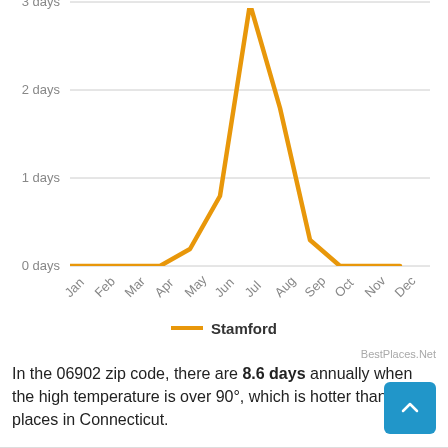[Figure (line-chart): Days with high temperature over 90°F per month]
BestPlaces.Net
In the 06902 zip code, there are 8.6 days annually when the high temperature is over 90°, which is hotter than most places in Connecticut.